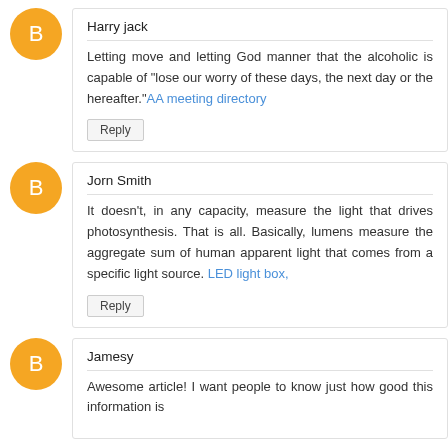Harry jack
Letting move and letting God manner that the alcoholic is capable of "lose our worry of these days, the next day or the hereafter."AA meeting directory
Reply
Jorn Smith
It doesn't, in any capacity, measure the light that drives photosynthesis. That is all. Basically, lumens measure the aggregate sum of human apparent light that comes from a specific light source. LED light box,
Reply
Jamesy
Awesome article! I want people to know just how good this information is